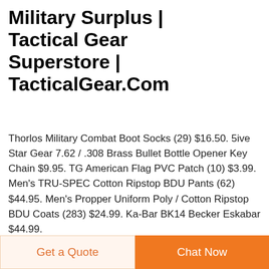Military Surplus | Tactical Gear Superstore | TacticalGear.Com
Thorlos Military Combat Boot Socks (29) $16.50. 5ive Star Gear 7.62 / .308 Brass Bullet Bottle Opener Key Chain $9.95. TG American Flag PVC Patch (10) $3.99. Men's TRU-SPEC Cotton Ripstop BDU Pants (62) $44.95. Men's Propper Uniform Poly / Cotton Ripstop BDU Coats (283) $24.99. Ka-Bar BK14 Becker Eskabar $44.99.
[Figure (photo): Three product thumbnails each with DEEKON logo: camouflage fabric, military uniform/coat, and black sandals/shoes with teal badge]
Get a Quote
Chat Now